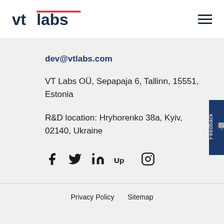[Figure (logo): VT Labs logo — 'vt labs' in dark navy with a red underline accent over 'labs']
dev@vtlabs.com
VT Labs OÜ, Sepapaja 6, Tallinn, 15551, Estonia
R&D location: Hryhorenko 38a, Kyiv, 02140, Ukraine
[Figure (infographic): Social media icons row: Facebook, Twitter, LinkedIn, Upwork, Instagram]
Privacy Policy   Sitemap